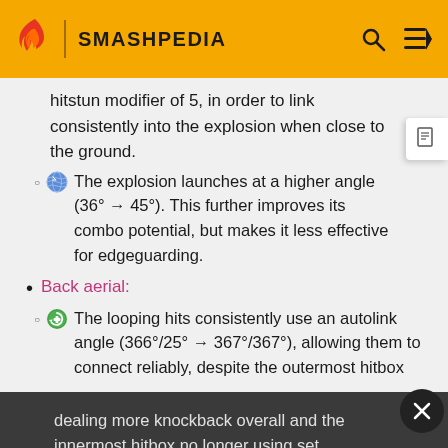SMASHPEDIA
hitstun modifier of 5, in order to link consistently into the explosion when close to the ground.
The explosion launches at a higher angle (36 → 45°). This further improves its combo potential, but makes it less effective for edgeguarding.
Back aerial:
The looping hits consistently use an autolink angle (366°/25° → 367°/367°), allowing them to connect reliably, despite the outermost hitbox
dealing more knockback overall and the innermost hitbox no longer using set knockback (30/0 base/0/40 set/40/100 scaling → 0 base/100 scaling).
The looping hits have a lower hitlag multiplier